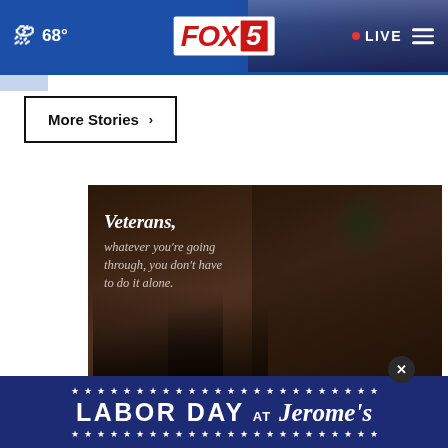FOX 5 | 68° | LIVE
More Stories ▶
[Figure (photo): Advertisement for the U.S. Department of Veterans Affairs showing a person sitting in a chair in a dimly lit room. Text reads: 'Veterans, whatever you're going through, you don't have to do it alone.' Ad badge and VA logo visible at bottom.]
[Figure (photo): Advertisement banner for Jerome's furniture store: 'LABOR DAY AT Jerome's' on a dark navy blue background with white stars.]